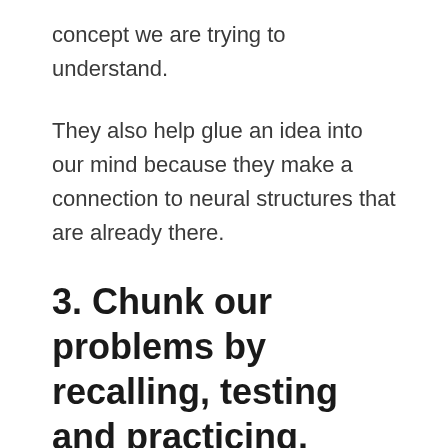concept we are trying to understand.
They also help glue an idea into our mind because they make a connection to neural structures that are already there.
3. Chunk our problems by recalling, testing and practicing.
After we read some material, we simply recall what we’ve just read. And then repeat the process. Reread and then recall again.
Recalling after learning is better than solely